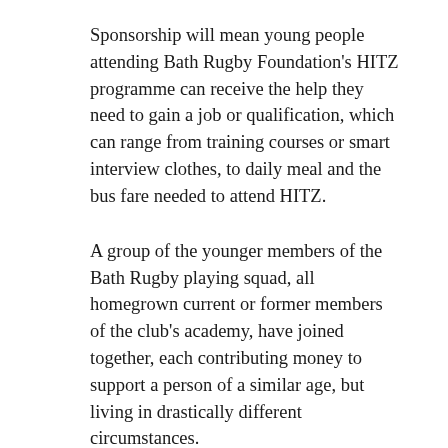Sponsorship will mean young people attending Bath Rugby Foundation's HITZ programme can receive the help they need to gain a job or qualification, which can range from training courses or smart interview clothes, to daily meal and the bus fare needed to attend HITZ.
A group of the younger members of the Bath Rugby playing squad, all homegrown current or former members of the club's academy, have joined together, each contributing money to support a person of a similar age, but living in drastically different circumstances.
The players, Tom de Glanville, Nahum Merigan, Max Ojomoh, Gabriel Hamer Webb,